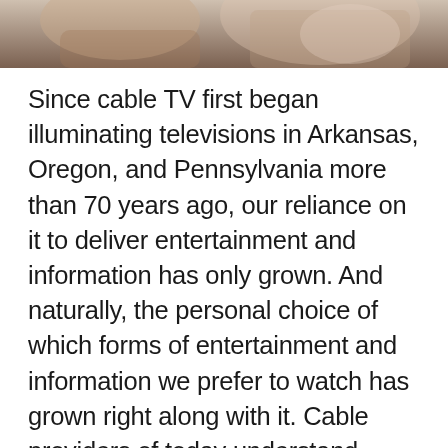[Figure (photo): A partial photo of people, appearing to show hands or a person on a couch, cropped at the top of the page]
Since cable TV first began illuminating televisions in Arkansas, Oregon, and Pennsylvania more than 70 years ago, our reliance on it to deliver entertainment and information has only grown. And naturally, the personal choice of which forms of entertainment and information we prefer to watch has grown right along with it. Cable providers of today understand there is an ongoing need to provide customers with the best in every class – the best TV shows, the best service, the best options, the best value, and the best overall satisfaction. The consumer reaps the rewards of this constant innovation in an ever-improving cable